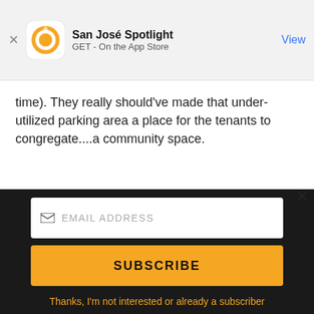[Figure (screenshot): App Store smart banner for San José Spotlight app with orange logo, app name, GET - On the App Store subtitle, and blue View button]
time). They really should've made that under-utilized parking area a place for the tenants to congregate....a community space.
[Figure (advertisement): San Jose Spotlight ad banner with logo, tagline 'Where San Jose locals start the day.' and sanjosespotlight.com URL, with tablet image on right]
[Figure (screenshot): Email subscription widget with EMAIL ADDRESS input field, SUBSCRIBE button in orange/gold, and 'Thanks, I'm not interested or already a subscriber' link at bottom, all on dark background]